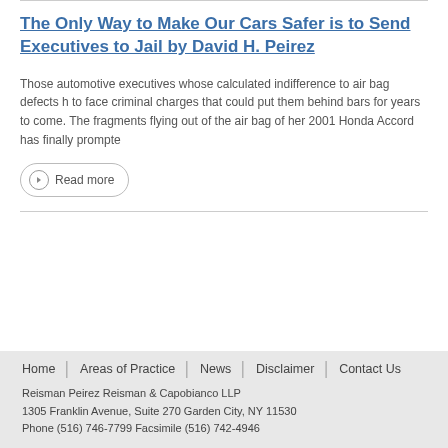The Only Way to Make Our Cars Safer is to Send Executives to Jail by David H. Peirez
Those automotive executives whose calculated indifference to air bag defects h... to face criminal charges that could put them behind bars for years to come. The fragments flying out of the air bag of her 2001 Honda Accord has finally prompte...
Read more
Home | Areas of Practice | News | Disclaimer | Contact Us
Reisman Peirez Reisman & Capobianco LLP
1305 Franklin Avenue, Suite 270 Garden City, NY 11530
Phone (516) 746-7799 Facsimile (516) 742-4946